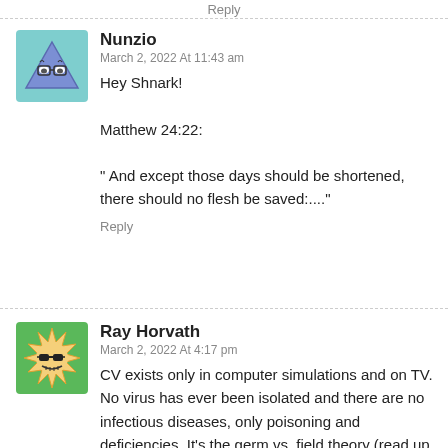Reply
[Figure (illustration): Avatar icon of a cartoon pyramid with eyes and glasses on a teal background]
Nunzio
March 2, 2022 At 11:43 am
Hey Shnark!

Matthew 24:22:

" And except those days should be shortened, there should no flesh be saved:...."
Reply
[Figure (illustration): Avatar icon of a cartoon spiky sun character with sunglasses on a green background]
Ray Horvath
March 2, 2022 At 4:17 pm
CV exists only in computer simulations and on TV. No virus has ever been isolated and there are no infectious diseases, only poisoning and deficiencies. It's the germ vs. field theory (read up